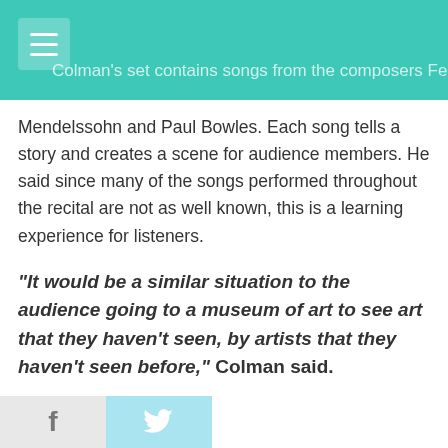Colman's set contains songs from the composers Felix Mendelssohn and Paul Bowles.
Mendelssohn and Paul Bowles. Each song tells a story and creates a scene for audience members. He said since many of the songs performed throughout the recital are not as well known, this is a learning experience for listeners.
“It would be a similar situation to the audience going to a museum of art to see art that they haven’t seen, by artists that they haven’t seen before,” Colman said.
Every composer has their own individual voice, so the learning experience is in discovering how the composer set a certain story to music.
Loyd chose pieces by German composer Robert, ch composer Henri Duparc. H a whole new world, allowing
f  t